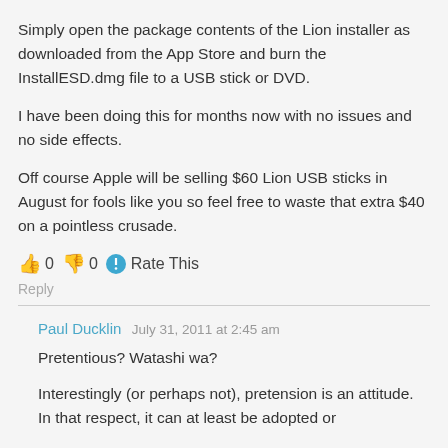Simply open the package contents of the Lion installer as downloaded from the App Store and burn the InstallESD.dmg file to a USB stick or DVD.
I have been doing this for months now with no issues and no side effects.
Off course Apple will be selling $60 Lion USB sticks in August for fools like you so feel free to waste that extra $40 on a pointless crusade.
👍 0 👎 0 🔵 Rate This
Reply
Paul Ducklin   July 31, 2011 at 2:45 am
Pretentious? Watashi wa?
Interestingly (or perhaps not), pretension is an attitude. In that respect, it can at least be adopted or...